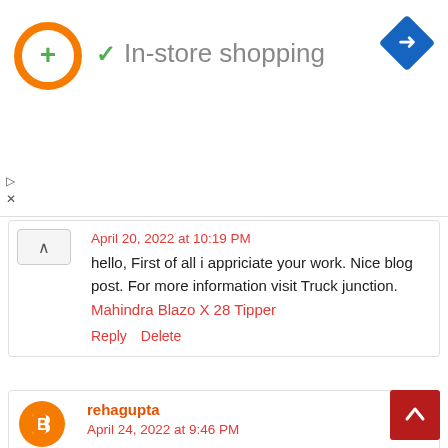[Figure (screenshot): Ad banner showing a circular orange logo with green plus icon, a green checkmark, and text 'In-store shopping', with a blue navigation diamond icon top right, and small play/close icons bottom left]
April 20, 2022 at 10:19 PM
hello, First of all i appriciate your work. Nice blog post. For more information visit Truck junction.
Mahindra Blazo X 28 Tipper
Reply   Delete
rehagupta
April 24, 2022 at 9:46 PM
Hello Team, Thank you so much for sharing useful & unique content.
Mahindra Blazo X 28 Price
Reply   Delete